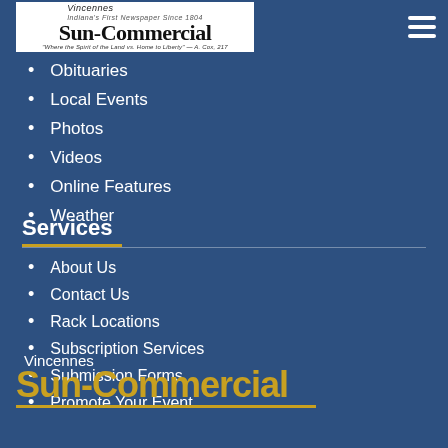[Figure (logo): Vincennes Sun-Commercial newspaper logo on white background]
Obituaries
Local Events
Photos
Videos
Online Features
Weather
Services
About Us
Contact Us
Rack Locations
Subscription Services
Submission Forms
Promote Your Event
[Figure (logo): Vincennes Sun-Commercial large footer logo in gold and white]